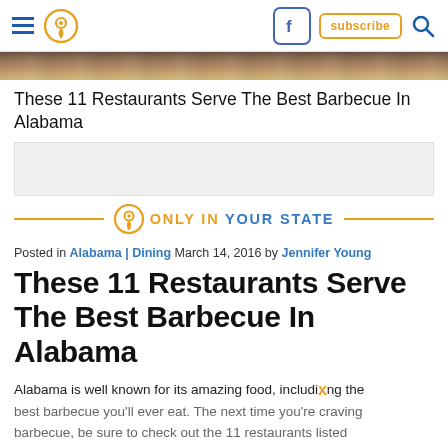Menu | Pin icon | Facebook | Subscribe | Search
[Figure (photo): Hero image strip of barbecue food, partially visible at top of article]
These 11 Restaurants Serve The Best Barbecue In Alabama
[Figure (logo): Only In Your State logo with pin icon, orange and blue text]
Posted in Alabama | Dining March 14, 2016 by Jennifer Young
These 11 Restaurants Serve The Best Barbecue In Alabama
Alabama is well known for its amazing food, including the best barbecue you'll ever eat. The next time you're craving barbecue, be sure to check out the 11 restaurants listed below. After all, they do serve the best barbecue in Alabama.